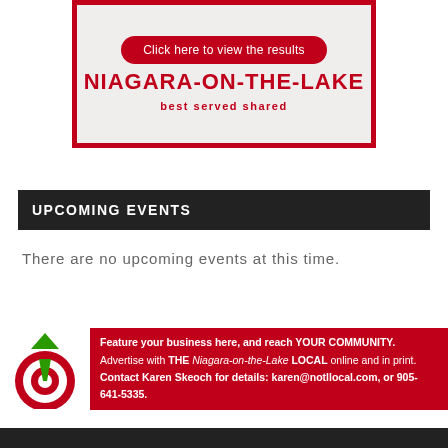[Figure (logo): Niagara-on-the-Lake logo box with red border, 'Click here to view the results' button, title NIAGARA-ON-THE-LAKE, subtitle 'best served shared']
UPCOMING EVENTS
There are no upcoming events at this time.
[Figure (illustration): Ad banner with target/bullseye and green arrow illustration on white background, red background with community advertising text]
Feature your business here, and reach YOUR COMMUNITY. Advertise with THE Niagara-on-the-Lake LOCAL online and in print. Contact Karen Skeoch for details: karen@notllocal.com, or 905-641-5335.